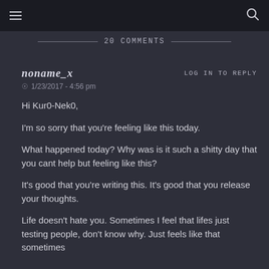≡  [search icon]
20 COMMENTS
noname_x
LOG IN TO REPLY
1/23/2017 - 4:56 pm
Hi Kur0-Nek0,
I'm so sorry that you're feeling like this today.
What happened today? Why was is it such a shitty day that you cant help but feeling like this?
It's good that you're writing this. It's good that you release your thoughts.
Life doesn't hate you. Sometimes I feel that lifes just testing people, don't know why. Just feels like that sometimes